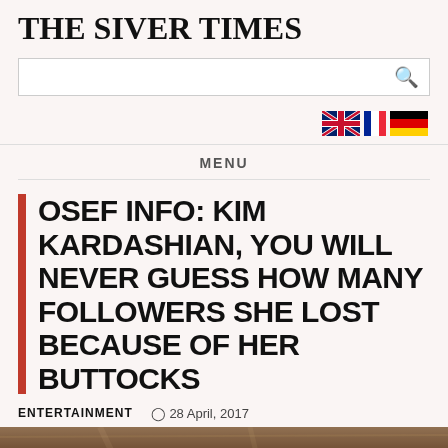THE SIVER TIMES
[Figure (screenshot): Search bar with magnifying glass icon]
[Figure (illustration): UK, French, and German flag icons in a row]
MENU
OSEF INFO: KIM KARDASHIAN, YOU WILL NEVER GUESS HOW MANY FOLLOWERS SHE LOST BECAUSE OF HER BUTTOCKS
ENTERTAINMENT  28 April, 2017
[Figure (photo): Partial photo of person, cropped at bottom of page]